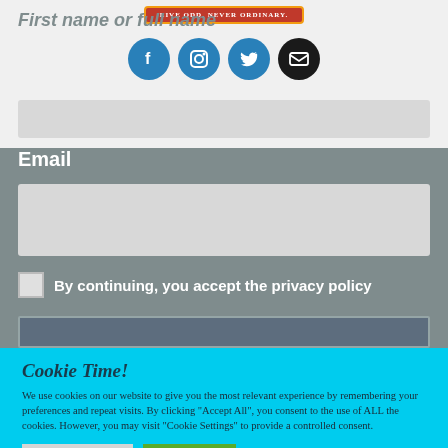[Figure (logo): Brand logo badge with text 'LIVE ODD. NEVER ORDINARY.' in red/orange rounded rectangle]
First name or full name
[Figure (infographic): Row of four social media icons: Facebook (blue circle), Instagram (blue circle), Twitter (blue circle), Email (black circle)]
Email
By continuing, you accept the privacy policy
Cookie Time!
We use cookies on our website to give you the most relevant experience by remembering your preferences and repeat visits. By clicking “Accept All”, you consent to the use of ALL the cookies. However, you may visit "Cookie Settings" to provide a controlled consent.
Cookie Settings
Accept All